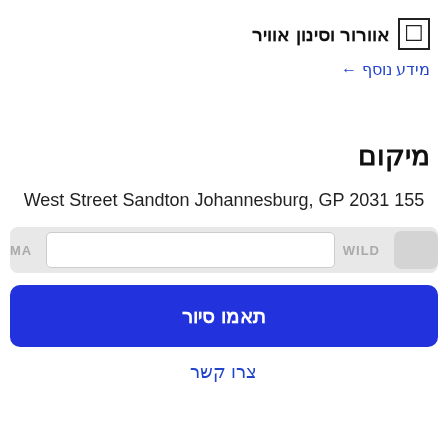אוורור וסינון אוויר
מידע נוסף ←
מיקום
West Street Sandton Johannesburg, GP 2031 155
[Figure (screenshot): Map strip showing location with WILD label and partial MA label on the right]
תאמו סיור
צרו קשר